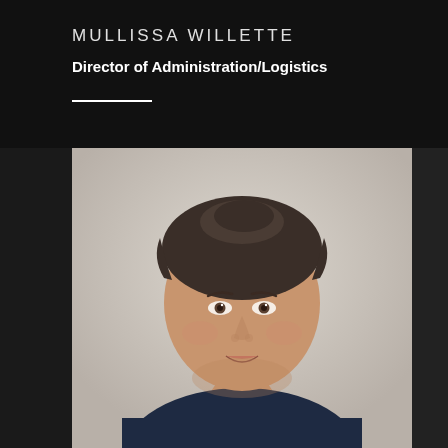MULLISSA WILLETTE
Director of Administration/Logistics
[Figure (photo): Headshot portrait of Mullissa Willette, a woman with dark hair pulled back, wearing a navy top, photographed against a light beige/white wall background.]